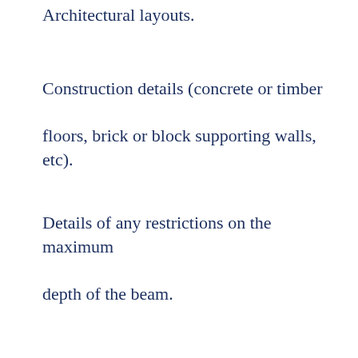Architectural layouts.
Construction details (concrete or timber floors, brick or block supporting walls, etc).
Details of any restrictions on the maximum depth of the beam.